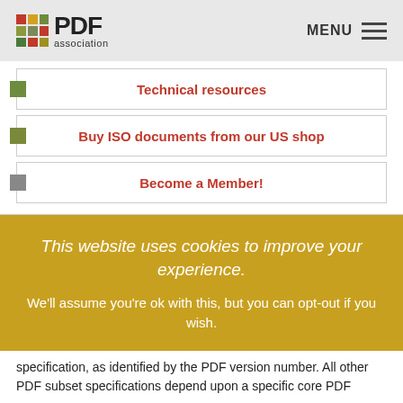PDF association | MENU
Technical resources
Buy ISO documents from our US shop
Become a Member!
This website uses cookies to improve your experience. We'll assume you're ok with this, but you can opt-out if you wish.
specification, as identified by the PDF version number. All other PDF subset specifications depend upon a specific core PDF